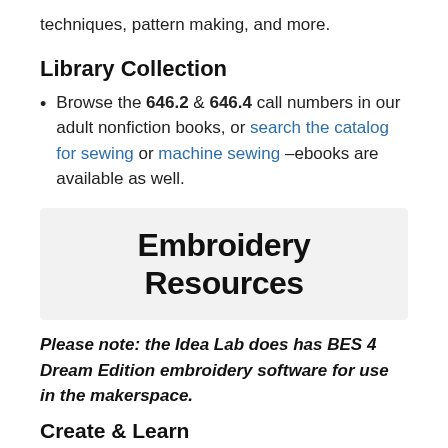techniques, pattern making, and more.
Library Collection
Browse the 646.2 & 646.4 call numbers in our adult nonfiction books, or search the catalog for sewing or machine sewing –ebooks are available as well.
Embroidery Resources
Please note: the Idea Lab does has BES 4 Dream Edition embroidery software for use in the makerspace.
Create & Learn